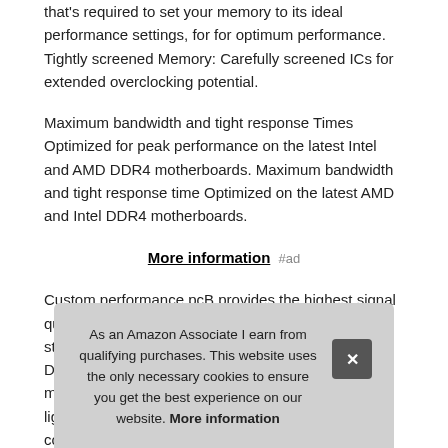that's required to set your memory to its ideal performance settings, for for optimum performance. Tightly screened Memory: Carefully screened ICs for extended overclocking potential.
Maximum bandwidth and tight response Times Optimized for peak performance on the latest Intel and AMD DDR4 motherboards. Maximum bandwidth and tight response time Optimized on the latest AMD and Intel DDR4 motherboards.
More information #ad
Custom performance pcB provides the highest signal quality for the greatest level of performance and stability. Requires no extr Dyn moc light cool
As an Amazon Associate I earn from qualifying purchases. This website uses the only necessary cookies to ensure you get the best experience on our website. More information